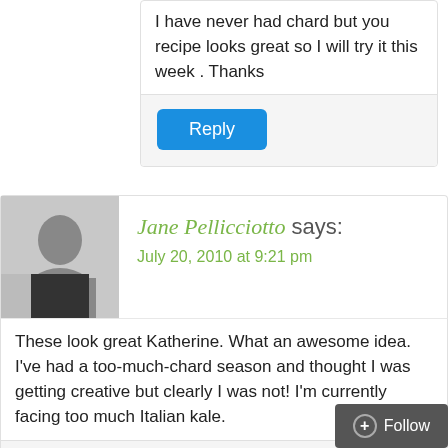I have never had chard but you recipe looks great so I will try it this week . Thanks
Reply
Jane Pellicciotto says:
July 20, 2010 at 9:21 pm
These look great Katherine. What an awesome idea. I've had a too-much-chard season and thought I was getting creative but clearly I was not! I'm currently facing too much Italian kale.
Reply